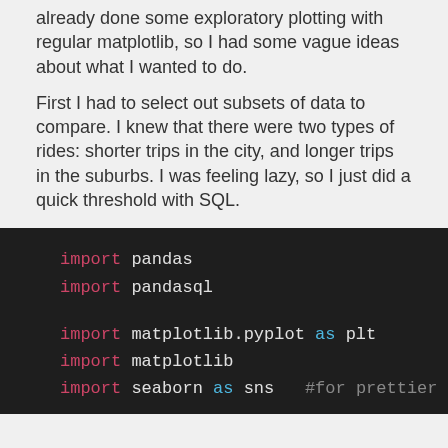already done some exploratory plotting with regular matplotlib, so I had some vague ideas about what I wanted to do.
First I had to select out subsets of data to compare. I knew that there were two types of rides: shorter trips in the city, and longer trips in the suburbs. I was feeling lazy, so I just did a quick threshold with SQL.
[Figure (screenshot): Dark-themed code block showing Python import statements: import pandas, import pandasql, import matplotlib.pyplot as plt, import matplotlib, import seaborn as sns  #for prettier pl (cut off)]